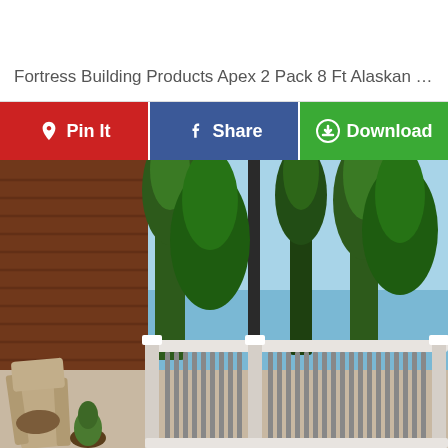Fortress Building Products Apex 2 Pack 8 Ft Alaskan D...
[Figure (other): Three action buttons: Pin It (red, Pinterest), Share (blue, Facebook), Download (green with download icon)]
[Figure (photo): Outdoor deck scene with white railing system, wood siding on a house, tall pine trees in background, outdoor chairs on deck, sunny day]